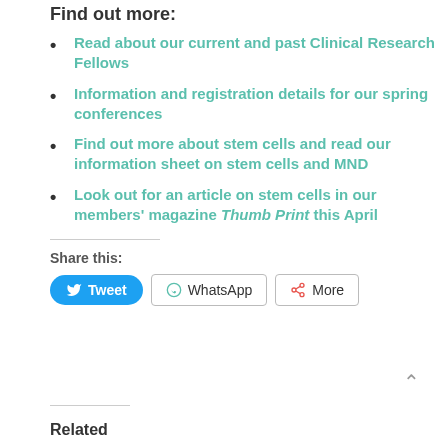Find out more:
Read about our current and past Clinical Research Fellows
Information and registration details for our spring conferences
Find out more about stem cells and read our information sheet on stem cells and MND
Look out for an article on stem cells in our members' magazine Thumb Print this April
Share this:
Tweet | WhatsApp | More
Related